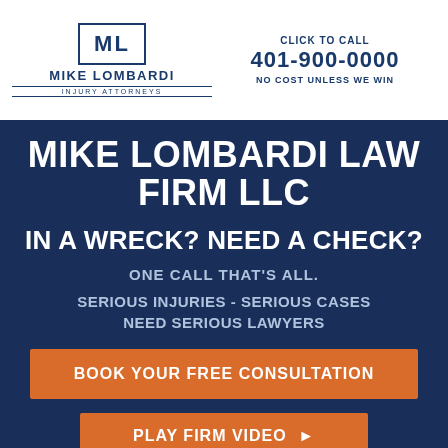[Figure (logo): Mike Lombardi Injury Attorneys logo with ML monogram in a bordered box]
CLICK TO CALL
401-900-0000
NO COST UNLESS WE WIN
MIKE LOMBARDI LAW FIRM LLC
IN A WRECK? NEED A CHECK?
ONE CALL THAT'S ALL.
SERIOUS INJURIES - SERIOUS CASES NEED SERIOUS LAWYERS
BOOK YOUR FREE CONSULTATION
PLAY FIRM VIDEO ▶